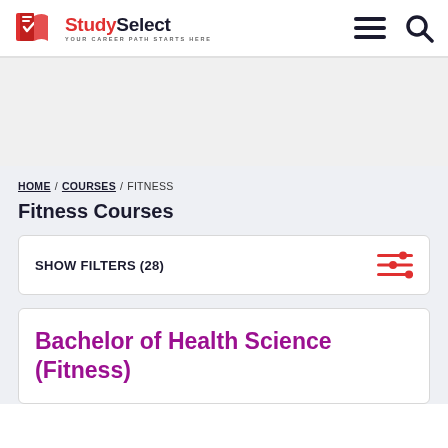[Figure (logo): StudySelect logo with red open book icon and tagline YOUR CAREER PATH STARTS HERE]
[Figure (infographic): Hamburger menu icon (three horizontal lines) and search (magnifying glass) icon in header]
[Figure (photo): Advertisement/banner area placeholder]
HOME / COURSES / FITNESS
Fitness Courses
SHOW FILTERS (28)
Bachelor of Health Science (Fitness)